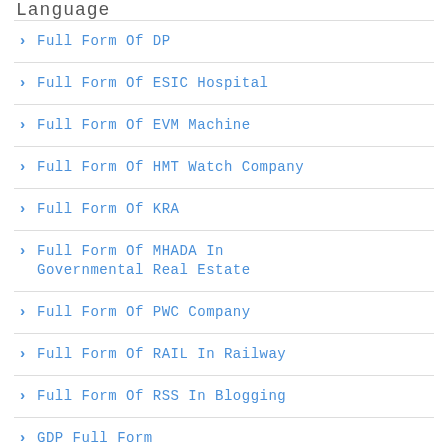Language
Full Form Of DP
Full Form Of ESIC Hospital
Full Form Of EVM Machine
Full Form Of HMT Watch Company
Full Form Of KRA
Full Form Of MHADA In Governmental Real Estate
Full Form Of PWC Company
Full Form Of RAIL In Railway
Full Form Of RSS In Blogging
GDP Full Form